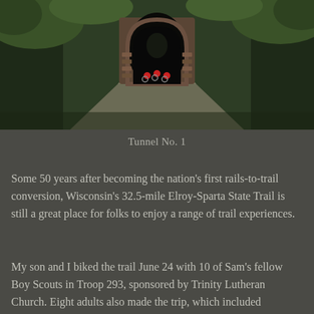[Figure (photo): Photograph of cyclists near a tunnel entrance surrounded by green vegetation and rocky cliffs, labeled Tunnel No. 1 on the Elroy-Sparta State Trail]
Tunnel No. 1
Some 50 years after becoming the nation’s first rails-to-trail conversion, Wisconsin’s 32.5-mile Elroy-Sparta State Trail is still a great place for folks to enjoy a range of trail experiences.
My son and I biked the trail June 24 with 10 of Sam’s fellow Boy Scouts in Troop 293, sponsored by Trinity Lutheran Church. Eight adults also made the trip, which included overnight camping outside of Elroy, where the trail’s eastern terminus meets up with Wisconsin’s 400